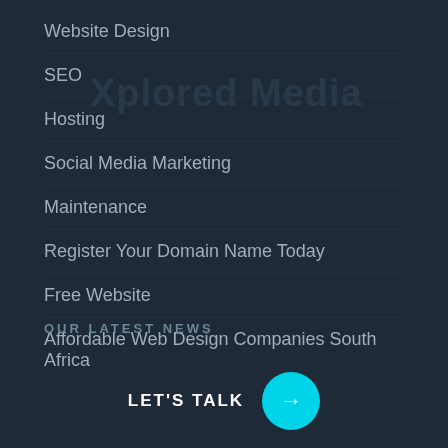Website Design
SEO
Hosting
Social Media Marketing
Maintenance
Register Your Domain Name Today
Free Website
Affordable Web Design Companies South Africa
OUR LATEST NEWS
LET'S TALK →